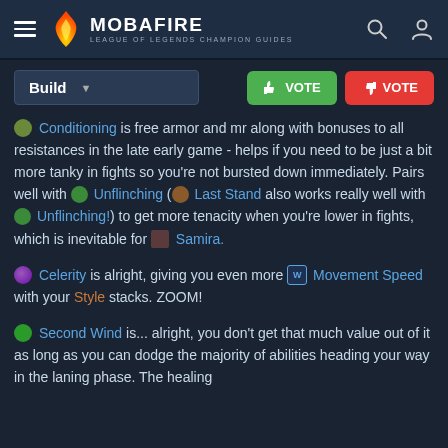MOBAFIRE — LEAGUE OF LEGENDS CHAMPION GUIDES
Build ▼  👍 VOTE  👎 VOTE
🛡 Conditioning is free armor and mr along with bonuses to all resistances in the late early game - helps if you need to be just a bit more tanky in fights so you're not bursted down immediately. Pairs well with 🌿 Unflinching (🧿 Last Stand also works really well with 🌿 Unflinching!) to get more tenacity when you're lower in fights, which is inevitable for 🎴 Samira.
🌀 Celerity is alright, giving you even more Ⓦ Movement Speed with your Style stacks. ZOOM!
🟢 Second Wind is... alright, you don't get that much value out of it as long as you can dodge the majority of abilities heading your way in the laning phase. The healing